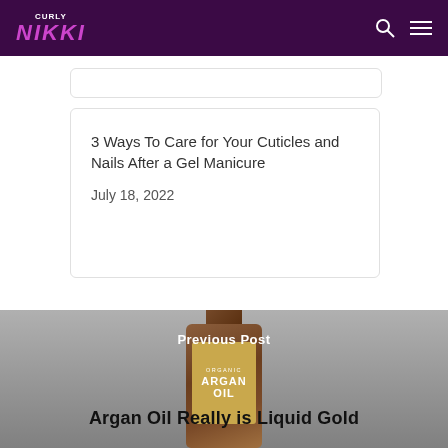CurlyNikki
3 Ways To Care for Your Cuticles and Nails After a Gel Manicure
July 18, 2022
[Figure (photo): Argan oil bottle with organic label, overlaid with 'Previous Post' text and title 'Argan Oil Really is Liquid Gold']
Previous Post
Argan Oil Really is Liquid Gold